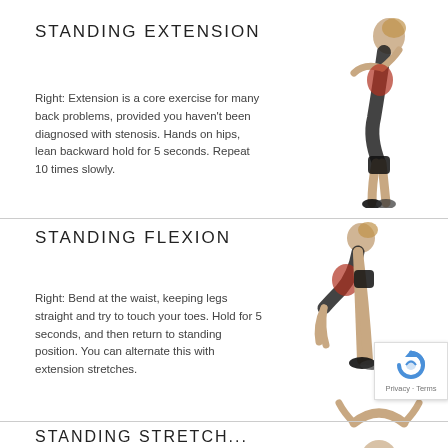STANDING EXTENSION
Right: Extension is a core exercise for many back problems, provided you haven't been diagnosed with stenosis. Hands on hips, lean backward hold for 5 seconds. Repeat 10 times slowly.
[Figure (photo): Woman bending backwards demonstrating standing extension exercise]
STANDING FLEXION
Right: Bend at the waist, keeping legs straight and try to touch your toes. Hold for 5 seconds, and then return to standing position. You can alternate this with extension stretches.
[Figure (photo): Woman bending forward touching toes demonstrating standing flexion exercise]
[Figure (photo): Partially visible person demonstrating another standing stretch exercise]
STANDING STRETCH...